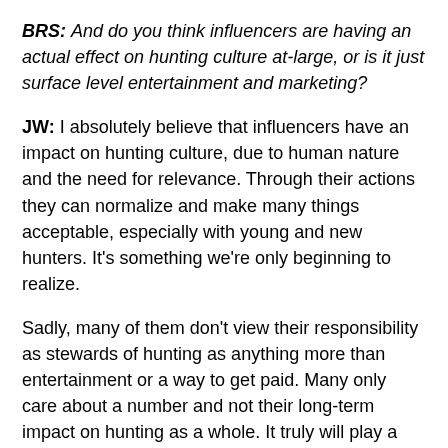BRS: And do you think influencers are having an actual effect on hunting culture at-large, or is it just surface level entertainment and marketing?
JW: I absolutely believe that influencers have an impact on hunting culture, due to human nature and the need for relevance. Through their actions they can normalize and make many things acceptable, especially with young and new hunters. It's something we're only beginning to realize.
Sadly, many of them don't view their responsibility as stewards of hunting as anything more than entertainment or a way to get paid. Many only care about a number and not their long-term impact on hunting as a whole. It truly will play a role in our future; I'm confident of it.